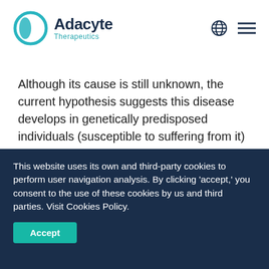[Figure (logo): Adacyte Therapeutics logo with teal circular icon and dark blue text]
Although its cause is still unknown, the current hypothesis suggests this disease develops in genetically predisposed individuals (susceptible to suffering from it) when they are exposed to certain environmental factors (most of them unknown or to be confirmed), leading to
This website uses its own and third-party cookies to perform user navigation analysis. By clicking ‘accept,’ you consent to the use of these cookies by us and third parties. Visit Cookies Policy.
Accept